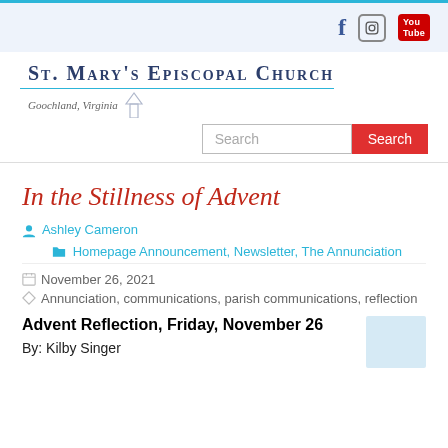St. Mary's Episcopal Church — Goochland, Virginia
In the Stillness of Advent
Ashley Cameron   Homepage Announcement, Newsletter, The Annunciation
November 26, 2021   Annunciation, communications, parish communications, reflection
Advent Reflection, Friday, November 26
By: Kilby Singer